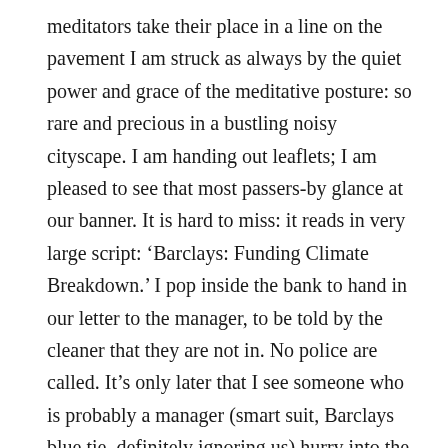meditators take their place in a line on the pavement I am struck as always by the quiet power and grace of the meditative posture: so rare and precious in a bustling noisy cityscape. I am handing out leaflets; I am pleased to see that most passers-by glance at our banner. It is hard to miss: it reads in very large script: ‘Barclays: Funding Climate Breakdown.’ I pop inside the bank to hand in our letter to the manager, to be told by the cleaner that they are not in. No police are called. It’s only later that I see someone who is probably a manager (smart suit, Barclays blue tie, definitely ignoring us) hurry into the bank, followed by someone who looks like a security guard.
I hope he looks at our letter some of which reads: